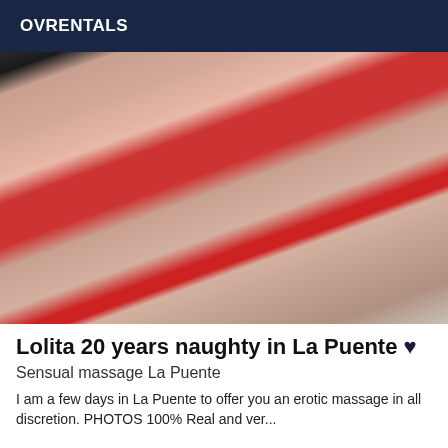OVRENTALS
[Figure (photo): Woman in red outfit posing on a bed frame in a bedroom]
Lolita 20 years naughty in La Puente ♥
Sensual massage La Puente
I am a few days in La Puente to offer you an erotic massage in all discretion. PHOTOS 100% Real and ver...